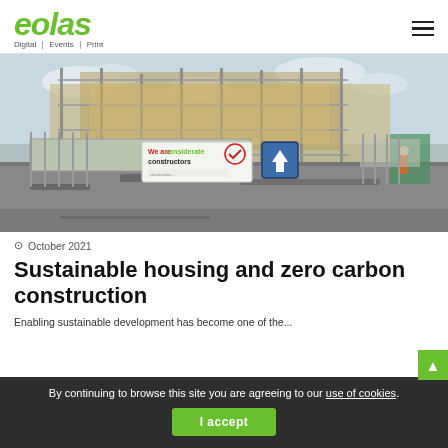eolas | Digital | Events | Print
[Figure (photo): Construction site with scaffolding, building materials, metal fence/hoarding with a 'We are considerate constructors' sign and a blue arrow sign. Workers visible in background. Overcast sky.]
October 2021
Sustainable housing and zero carbon construction
Enabling sustainable development has become one of the...
By continuing to browse this site you are agreeing to our use of cookies. I accept